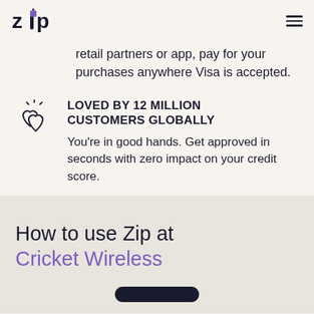[Figure (logo): Zip logo — bold sans-serif text 'zip' with a purple square replacing the 'i' dot, topped with a small circle]
retail partners or app, pay for your purchases anywhere Visa is accepted.
[Figure (illustration): Two overlapping outlined hearts with small sparkle lines above them]
LOVED BY 12 MILLION CUSTOMERS GLOBALLY
You're in good hands. Get approved in seconds with zero impact on your credit score.
How to use Zip at Cricket Wireless